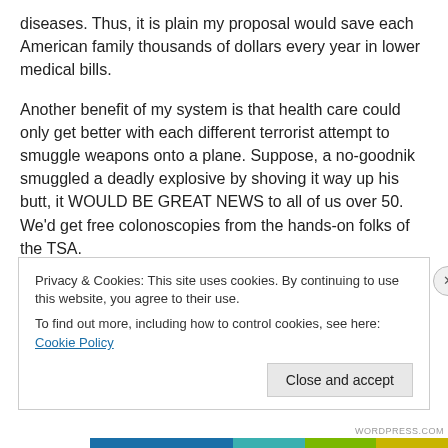diseases. Thus, it is plain my proposal would save each American family thousands of dollars every year in lower medical bills.
Another benefit of my system is that health care could only get better with each different terrorist attempt to smuggle weapons onto a plane. Suppose, a no-goodnik smuggled a deadly explosive by shoving it way up his butt, it WOULD BE GREAT NEWS to all of us over 50. We'd get free colonoscopies from the hands-on folks of the TSA.
Now, if we could only get the TSA to recruit from Hooters
Privacy & Cookies: This site uses cookies. By continuing to use this website, you agree to their use.
To find out more, including how to control cookies, see here: Cookie Policy